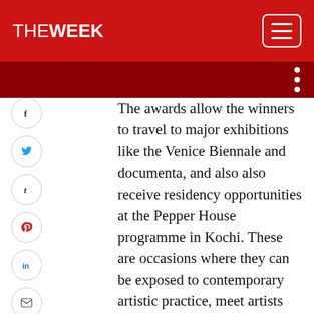THE WEEK
The awards allow the winners to travel to major exhibitions like the Venice Biennale and documenta, and also also receive residency opportunities at the Pepper House programme in Kochi. These are occasions where they can be exposed to contemporary artistic practice, meet artists and curators, and also see masterpieces at museums and important collections. The residency awardees also get time to explore their practice in different ways. Like it was for Sudarshan, Iranna and me, I hope this will turn out to be great learning experiences for these young artists. An award is a recognition, a